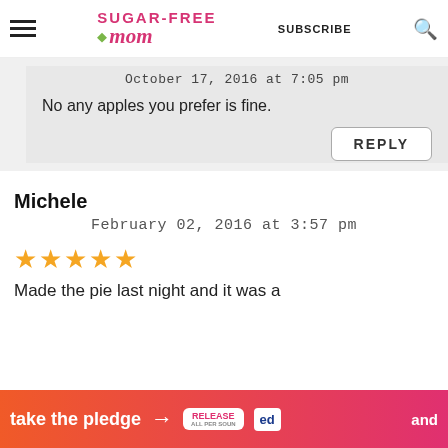Sugar-Free Mom — SUBSCRIBE
October 17, 2016 at 7:05 pm
No any apples you prefer is fine.
REPLY
Michele
February 02, 2016 at 3:57 pm
★★★★★
Made the pie last night and it was a
take the pledge → RELEASE Ed and